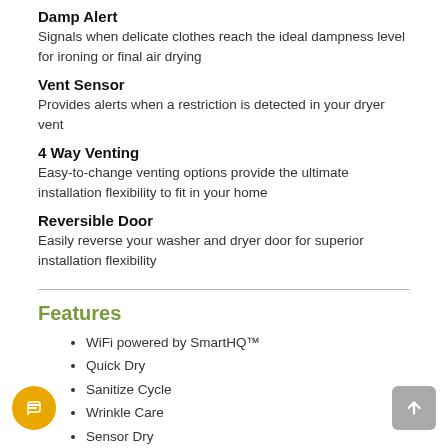Damp Alert
Signals when delicate clothes reach the ideal dampness level for ironing or final air drying
Vent Sensor
Provides alerts when a restriction is detected in your dryer vent
4 Way Venting
Easy-to-change venting options provide the ultimate installation flexibility to fit in your home
Reversible Door
Easily reverse your washer and dryer door for superior installation flexibility
Features
WiFi powered by SmartHQ™
Quick Dry
Sanitize Cycle
Wrinkle Care
Sensor Dry